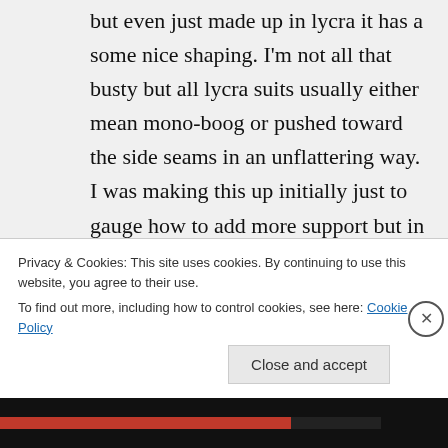but even just made up in lycra it has a some nice shaping. I'm not all that busty but all lycra suits usually either mean mono-boog or pushed toward the side seams in an unflattering way. I was making this up initially just to gauge how to add more support but in my case it wasn't necessary. I'm sure there's a way to add bra cups or an underwire. But as designed, it's stitched through all layers and the seam lines extend to the side seam. So the cup
Privacy & Cookies: This site uses cookies. By continuing to use this website, you agree to their use.
To find out more, including how to control cookies, see here: Cookie Policy
Close and accept